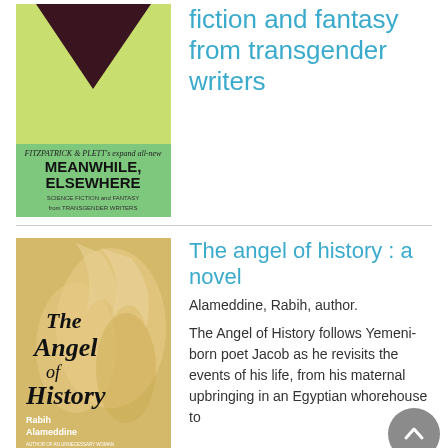[Figure (illustration): Book cover of 'Meanwhile, Elsewhere: Science Fiction and Fantasy from Transgender Writers' edited by Fitzpatrick & Plett. Yellow-green background with a dark maroon downward-pointing triangle/chevron shape. Text reads: FITZPATRICK & PLETT's, MEANWHILE, ELSEWHERE, SCIENCE FICTION and FANTASY from TRANSGENDER WRITERS.]
fiction and fantasy from transgender writers
[Figure (illustration): Book cover of 'The Angel of History: A Novel' by Rabih Alameddine. Cream/gold background with large stylized flame-like designs and bold black and white typography. Text reads: The Angel of History, Rabih Alameddine, AUTHOR OF AN UNNECESSARY WOMAN, NATIONAL BOOK AWARD FINALIST.]
The angel of history : a novel
Alameddine, Rabih, author.
The Angel of History follows Yemeni-born poet Jacob as he revisits the events of his life, from his maternal upbringing in an Egyptian whorehouse to